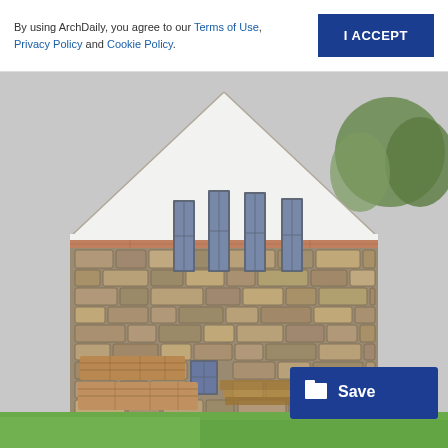By using ArchDaily, you agree to our Terms of Use, Privacy Policy and Cookie Policy.
[Figure (photo): Exterior view of a stone barn/building with white gabled roof, four narrow vertical windows near the roofline, stone masonry walls, a small rectangular window in the lower center, stacked stone/wood materials in the foreground lower left, and a grassy lawn area at bottom. Trees visible in upper right background.]